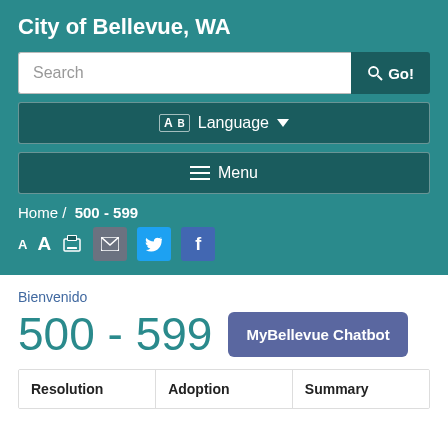City of Bellevue, WA
[Figure (screenshot): Search bar with text 'Search' and a dark teal 'Go!' button with magnifying glass icon]
[Figure (screenshot): Language selector button with translation icon and dropdown arrow]
[Figure (screenshot): Menu button with hamburger icon]
Home / 500 - 599
[Figure (screenshot): Toolbar with font size buttons (A A), print icon, email icon (gray), Twitter icon (blue), Facebook icon (purple)]
Bienvenido
500 - 599
[Figure (screenshot): MyBellevue Chatbot button (purple/blue)]
| Resolution | Adoption | Summary |
| --- | --- | --- |